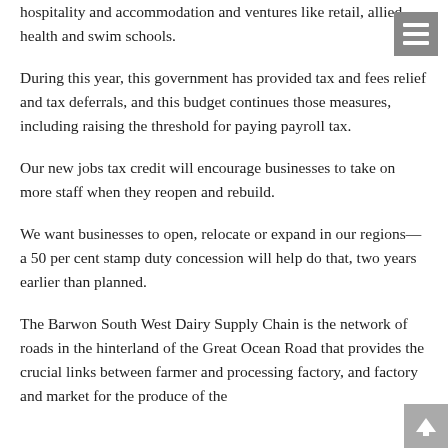hospitality and accommodation and ventures like retail, allied health and swim schools.
During this year, this government has provided tax and fees relief and tax deferrals, and this budget continues those measures, including raising the threshold for paying payroll tax.
Our new jobs tax credit will encourage businesses to take on more staff when they reopen and rebuild.
We want businesses to open, relocate or expand in our regions—a 50 per cent stamp duty concession will help do that, two years earlier than planned.
The Barwon South West Dairy Supply Chain is the network of roads in the hinterland of the Great Ocean Road that provides the crucial links between farmer and processing factory, and factory and market for the produce of the